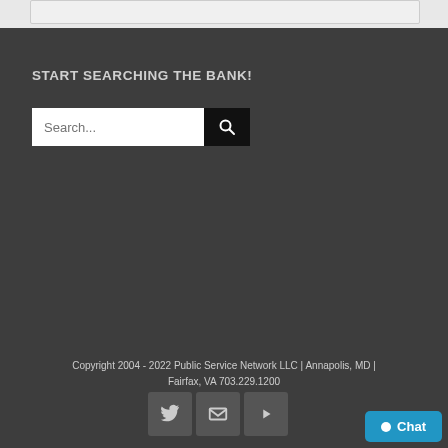[Figure (screenshot): Top portion showing a light gray bar with a card/panel element]
START SEARCHING THE BANK!
[Figure (screenshot): Search bar with text input field showing 'Search...' placeholder and a black search button with magnifying glass icon]
Copyright 2004 - 2022 Public Service Network LLC | Annapolis, MD | Fairfax, VA 703.229.1200
[Figure (screenshot): Social media icons: Twitter bird, envelope/email, YouTube play button]
Chat